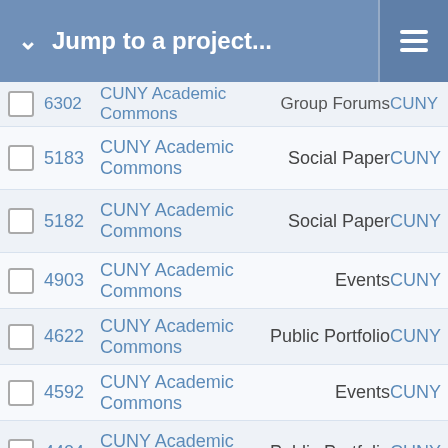Jump to a project...
|  | ID | Name | Type | Tag |
| --- | --- | --- | --- | --- |
|  | 6302 | CUNY Academic Commons | Group Forums | CUNY |
|  | 5183 | CUNY Academic Commons | Social Paper | CUNY |
|  | 5182 | CUNY Academic Commons | Social Paper | CUNY |
|  | 4903 | CUNY Academic Commons | Events | CUNY |
|  | 4622 | CUNY Academic Commons | Public Portfolio | CUNY |
|  | 4592 | CUNY Academic Commons | Events | CUNY |
|  | 4404 | CUNY Academic Commons | Public Portfolio | CUNY |
|  | 4253 | CUNY Academic Commons | Public Portfolio | CUNY |